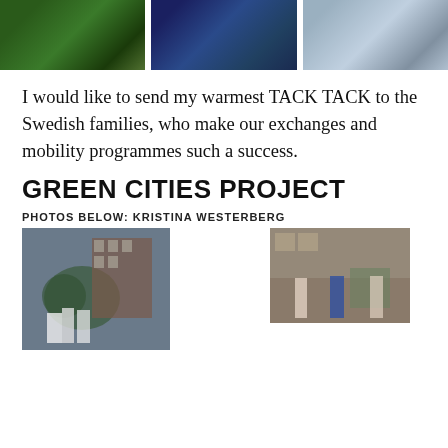[Figure (photo): Three photos at top: green plants/scissors on left, food on plate in middle, cups/bowls on right]
I would like to send my warmest TACK TACK to the Swedish families, who make our exchanges and mobility programmes such a success.
GREEN CITIES PROJECT
PHOTOS BELOW: KRISTINA WESTERBERG
[Figure (photo): Two photos: left shows two people (male and female) standing in front of a fountain and brick building; right shows three people standing outside in front of a building with flowers]
PHOTOS BELOW: KRISTINA WESTERBERG